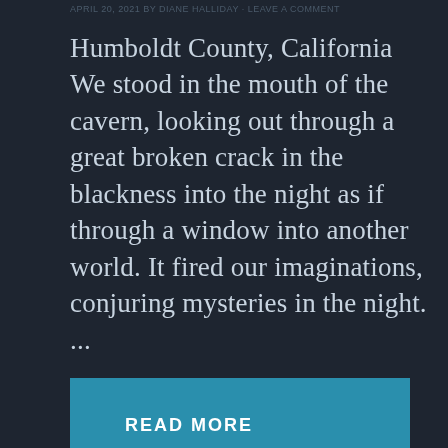APRIL 20, 2021 BY DIANE HALLIDAY · LEAVE A COMMENT
Humboldt County, California We stood in the mouth of the cavern, looking out through a great broken crack in the blackness into the night as if through a window into another world. It fired our imaginations, conjuring mysteries in the night. ...
READ MORE
[Figure (photo): Night sky photo with blue gradient tones, possibly showing a comet or celestial object]